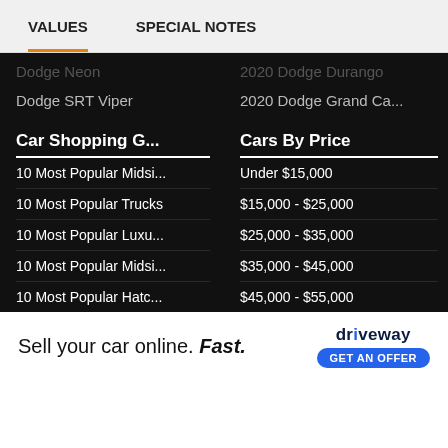VALUES   SPECIAL NOTES
Dodge Neon
2020 Dodge Durango
Dodge SRT Viper
2020 Dodge Grand Ca...
Car Shopping G...
Cars By Price
10 Most Popular Midsi...
Under $15,000
10 Most Popular Trucks
$15,000 - $25,000
10 Most Popular Luxu...
$25,000 - $35,000
10 Most Popular Midsi...
$35,000 - $45,000
10 Most Popular Hatc...
$45,000 - $55,000
Most Reliable 2017 Tr...
$55,000 - $65,000
10 Most Popular Smal...
$65,000 - $75,000
10 Most Popular Large...
Over $75,000
Most Re...
10 Most...
[Figure (screenshot): Driveway advertisement banner: 'Sell your car online. Fast.' with Driveway logo and 'GET AN OFFER' button]